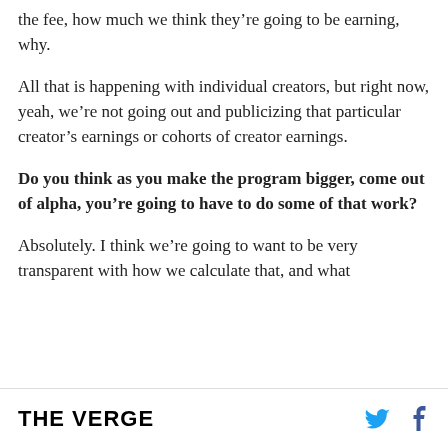the fee, how much we think they're going to be earning, why.
All that is happening with individual creators, but right now, yeah, we're not going out and publicizing that particular creator's earnings or cohorts of creator earnings.
Do you think as you make the program bigger, come out of alpha, you're going to have to do some of that work?
Absolutely. I think we're going to want to be very transparent with how we calculate that, and what
THE VERGE